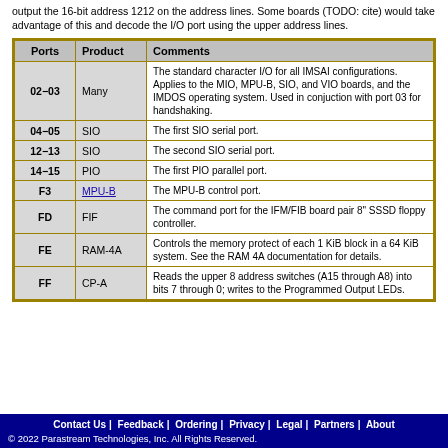output the 16-bit address 1212 on the address lines. Some boards (TODO: cite) would take advantage of this and decode the I/O port using the upper address lines.
| Ports | Product | Comments |
| --- | --- | --- |
| 02−03 | Many | The standard character I/O for all IMSAI configurations. Applies to the MIO, MPU-B, SIO, and VIO boards, and the IMDOS operating system. Used in conjuction with port 03 for handshaking. |
| 04−05 | SIO | The first SIO serial port. |
| 12−13 | SIO | The second SIO serial port. |
| 14−15 | PIO | The first PIO parallel port. |
| F3 | MPU-B | The MPU-B control port. |
| FD | FIF | The command port for the IFM/FIB board pair 8" SSSD floppy controller. |
| FE | RAM-4A | Controls the memory protect of each 1 KiB block in a 64 KiB system. See the RAM 4A documentation for details. |
| FF | CP-A | Reads the upper 8 address switches (A15 through A8) into bits 7 through 0; writes to the Programmed Output LEDs. |
Contact Us | Feedback | Ordering | Privacy | Legal | Partners | About
© 2022 Parastream Technologies, Inc. All Rights Reserved.